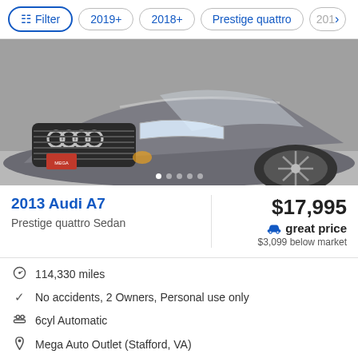Filter | 2019+ | 2018+ | Prestige quattro | 201>
[Figure (photo): Front view of a gray 2013 Audi A7 Prestige quattro Sedan with chrome grille and alloy wheels, with image carousel dots at the bottom]
2013 Audi A7
Prestige quattro Sedan
$17,995
great price
$3,099 below market
114,330 miles
No accidents, 2 Owners, Personal use only
6cyl Automatic
Mega Auto Outlet (Stafford, VA)